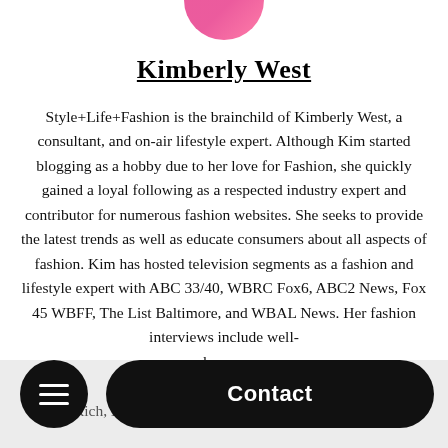[Figure (photo): Partial photo of Kimberly West, cropped at top of page, showing pink/magenta clothing]
Kimberly West
Style+Life+Fashion is the brainchild of Kimberly West, a consultant, and on-air lifestyle expert. Although Kim started blogging as a hobby due to her love for Fashion, she quickly gained a loyal following as a respected industry expert and contributor for numerous fashion websites. She seeks to provide the latest trends as well as educate consumers about all aspects of fashion. Kim has hosted television segments as a fashion and lifestyle expert with ABC 33/40, WBRC Fox6, ABC2 News, Fox 45 WBFF, The List Baltimore, and WBAL News. Her fashion interviews include well-known...ima...Rich, Darius Gibbs, Deon Donovan, and Jillions
Contact